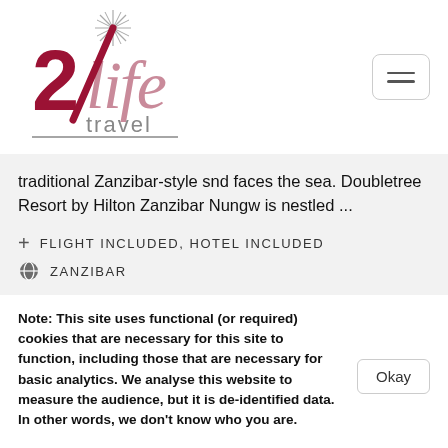[Figure (logo): 2life travel logo with star and italic text]
traditional Zanzibar-style snd faces the sea. Doubletree Resort by Hilton Zanzibar Nungw is nestled ...
+ FLIGHT INCLUDED, HOTEL INCLUDED
ZANZIBAR
Note: This site uses functional (or required) cookies that are necessary for this site to function, including those that are necessary for basic analytics. We analyse this website to measure the audience, but it is de-identified data. In other words, we don't know who you are.